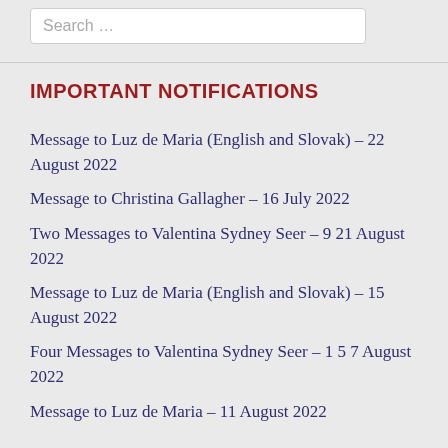Search …
IMPORTANT NOTIFICATIONS
Message to Luz de Maria (English and Slovak) – 22 August 2022
Message to Christina Gallagher – 16 July 2022
Two Messages to Valentina Sydney Seer – 9 21 August 2022
Message to Luz de Maria (English and Slovak) – 15 August 2022
Four Messages to Valentina Sydney Seer – 1 5 7 August 2022
Message to Luz de Maria – 11 August 2022